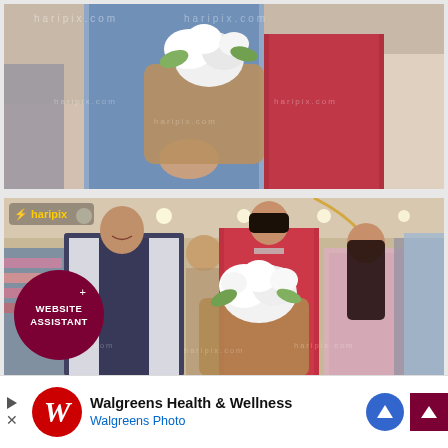[Figure (photo): Top portion of a store event photo showing a man in a suit holding a bouquet of flowers being presented by a woman in a red outfit, with an elderly person visible in the background.]
[Figure (photo): Group photo at a retail store opening event. A smiling man in a dark vest and white shirt stands with a woman in a red outfit holding a flower bouquet, and another woman in a light pink top, with several other people visible in the background inside an elegant retail store.]
[Figure (logo): Website Assistant circular badge with dark maroon background and white text reading WEBSITE ASSISTANT with a plus sign.]
Walgreens Health & Wellness
Walgreens Photo